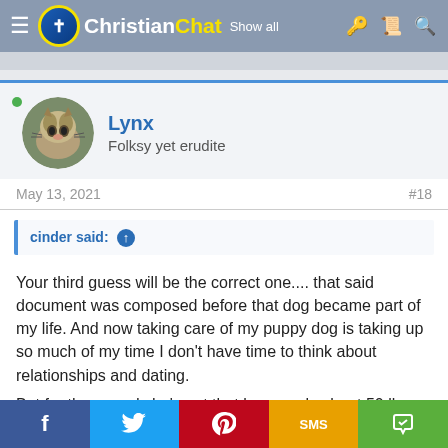Christian Chat
[Figure (screenshot): User profile avatar showing a lynx/wildcat animal photo in circular crop]
Lynx
Folksy yet erudite
May 13, 2021    #18
cinder said: ↑
Your third guess will be the correct one.... that said document was composed before that dog became part of my life. And now taking care of my puppy dog is taking up so much of my time I don't have time to think about relationships and dating.

But for the record she's not that large, only about 50 lbs.
f  [Twitter]  [Pinterest]  SMS  [Share]